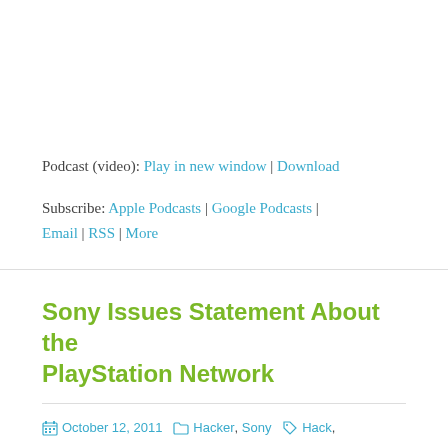Podcast (video): Play in new window | Download
Subscribe: Apple Podcasts | Google Podcasts | Email | RSS | More
Sony Issues Statement About the PlayStation Network
October 12, 2011  Hacker, Sony  Hack, PlayStation Network, PS3, PSN, Sony  Alan